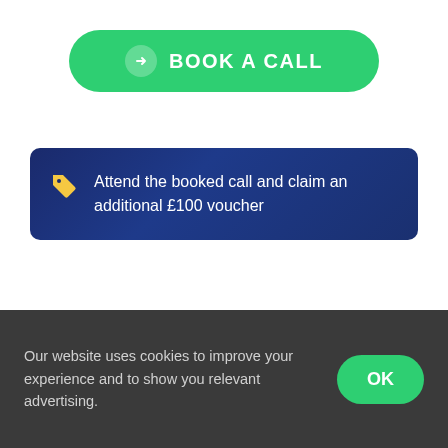[Figure (other): Green rounded button with white arrow-circle icon and bold white uppercase text reading BOOK A CALL]
Attend the booked call and claim an additional £100 voucher
Why Transform
Our website uses cookies to improve your experience and to show you relevant advertising.
[Figure (other): Green rounded OK button in cookie consent bar]